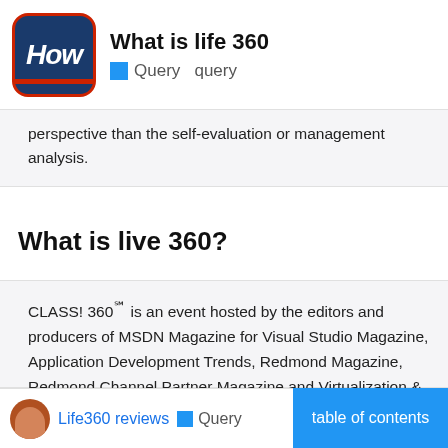What is life 360 | Query query
perspective than the self-evaluation or management analysis.
What is live 360?
CLASS! 360℠ is an event hosted by the editors and producers of MSDN Magazine for Visual Studio Magazine, Application Development Trends, Redmond Magazine, Redmond Channel Partner Magazine and Virtualization & Cloud Review.
Life360 reviews | Query | table of contents